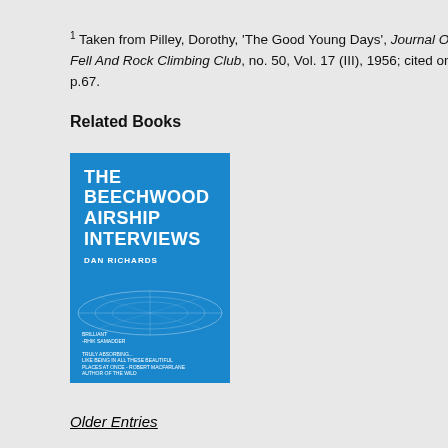1 Taken from Pilley, Dorothy, 'The Good Young Days', Journal Of The Fell And Rock Climbing Club, no. 50, Vol. 17 (III), 1956; cited on page p.67.
Related Books
[Figure (photo): Book cover of 'The Beechwood Airship Interviews' by Dan Richards. Blue background with white bold text and a faint airship/zeppelin technical diagram.]
Older Entries